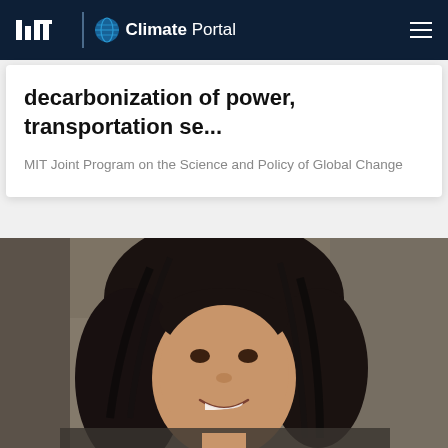MIT Climate Portal
decarbonization of power, transportation se...
MIT Joint Program on the Science and Policy of Global Change
[Figure (photo): Portrait photo of a woman with dark curly hair, smiling, against a blurred stone/wall background]